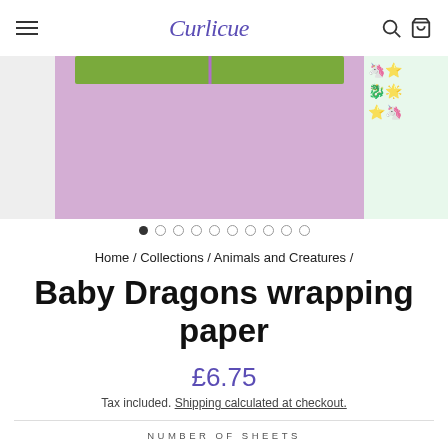Curlicue
[Figure (photo): Product image carousel showing gift wrapping paper on a purple/lavender background, with a strip of green on the left and a unicorn/creature patterned paper on the right side]
● ○ ○ ○ ○ ○ ○ ○ ○ ○ (image carousel dots)
Home / Collections / Animals and Creatures /
Baby Dragons wrapping paper
£6.75
Tax included. Shipping calculated at checkout.
NUMBER OF SHEETS